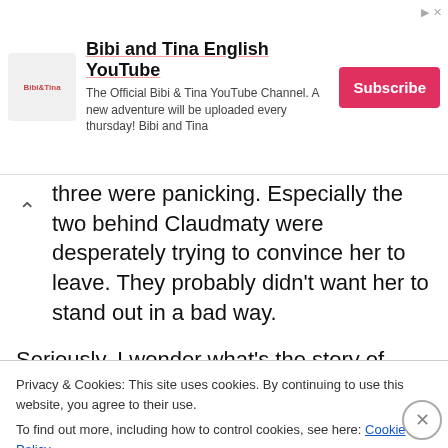[Figure (other): Bibi and Tina English YouTube advertisement banner with logo, description text, and red Subscribe button]
three were panicking. Especially the two behind Claudmaty were desperately trying to convince her to leave. They probably didn't want her to stand out in a bad way.
Seriously, I wonder what's the story of those two, to be okay with being her henchmen...
“.....Then, we’ll be taking our leave here.”
Privacy & Cookies: This site uses cookies. By continuing to use this website, you agree to their use.
To find out more, including how to control cookies, see here: Cookie Policy